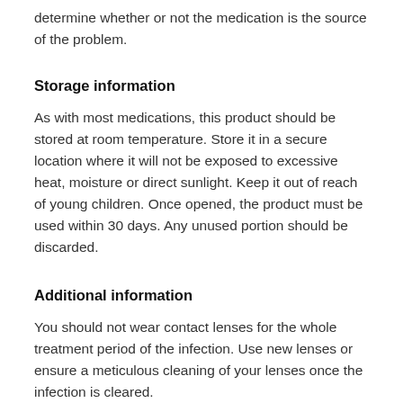determine whether or not the medication is the source of the problem.
Storage information
As with most medications, this product should be stored at room temperature. Store it in a secure location where it will not be exposed to excessive heat, moisture or direct sunlight. Keep it out of reach of young children. Once opened, the product must be used within 30 days. Any unused portion should be discarded.
Additional information
You should not wear contact lenses for the whole treatment period of the infection. Use new lenses or ensure a meticulous cleaning of your lenses once the infection is cleared.